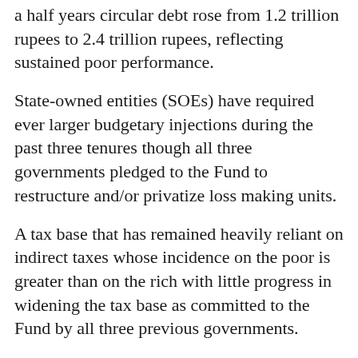a half years circular debt rose from 1.2 trillion rupees to 2.4 trillion rupees, reflecting sustained poor performance.
State-owned entities (SOEs) have required ever larger budgetary injections during the past three tenures though all three governments pledged to the Fund to restructure and/or privatize loss making units.
A tax base that has remained heavily reliant on indirect taxes whose incidence on the poor is greater than on the rich with little progress in widening the tax base as committed to the Fund by all three previous governments.
A persistent challenge which explains the reasons for Pakistan being a perennial IMF borrower is with regards to a recurring current account deficit blamed on pro-growth